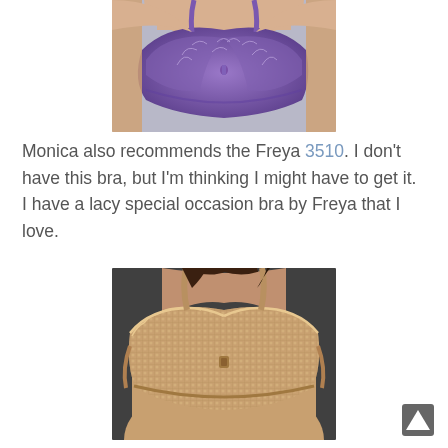[Figure (photo): Purple bra with floral/leaf pattern on mannequin torso, cropped at top]
Monica also recommends the Freya 3510. I don't have this bra, but I'm thinking I might have to get it. I have a lacy special occasion bra by Freya that I love.
[Figure (photo): Nude/beige textured lace bra on mannequin torso]